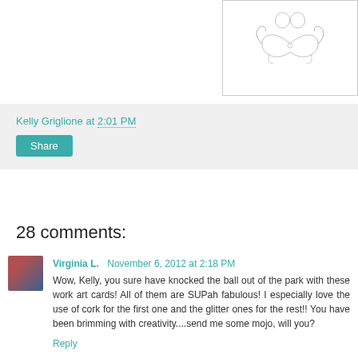[Figure (illustration): Decorative ornamental heart/swirl design in light grey on white card background]
Kelly Griglione at 2:01 PM
Share
28 comments:
Virginia L.  November 6, 2012 at 2:18 PM
Wow, Kelly, you sure have knocked the ball out of the park with these work art cards! All of them are SUPah fabulous! I especially love the use of cork for the first one and the glitter ones for the rest!! You have been brimming with creativity....send me some mojo, will you?
Reply